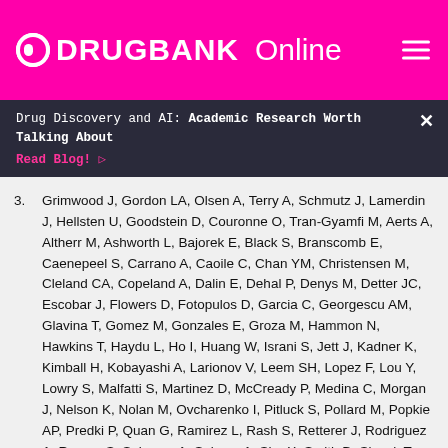DRUGBANK Online
Drug Discovery and AI: Academic Research Worth Talking About Read Blog!
3. Grimwood J, Gordon LA, Olsen A, Terry A, Schmutz J, Lamerdin J, Hellsten U, Goodstein D, Couronne O, Tran-Gyamfi M, Aerts A, Altherr M, Ashworth L, Bajorek E, Black S, Branscomb E, Caenepeel S, Carrano A, Caoile C, Chan YM, Christensen M, Cleland CA, Copeland A, Dalin E, Dehal P, Denys M, Detter JC, Escobar J, Flowers D, Fotopulos D, Garcia C, Georgescu AM, Glavina T, Gomez M, Gonzales E, Groza M, Hammon N, Hawkins T, Haydu L, Ho I, Huang W, Israni S, Jett J, Kadner K, Kimball H, Kobayashi A, Larionov V, Leem SH, Lopez F, Lou Y, Lowry S, Malfatti S, Martinez D, McCready P, Medina C, Morgan J, Nelson K, Nolan M, Ovcharenko I, Pitluck S, Pollard M, Popkie AP, Predki P, Quan G, Ramirez L, Rash S, Retterer J, Rodriguez A, Rogers S, Salamov A, Salazar A, She X, Smith D, Slezak T, Solovyev V, Thayer N, Tice H, Tsai M, Ustaszewska A,